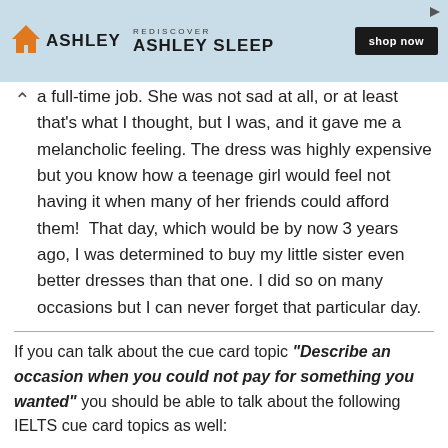[Figure (other): Ashley Sleep advertisement banner with orange house logo, 'REDISCOVER ASHLEY SLEEP' text, and 'shop now' button on light blue background]
a full-time job. She was not sad at all, or at least that's what I thought, but I was, and it gave me a melancholic feeling. The dress was highly expensive but you know how a teenage girl would feel not having it when many of her friends could afford them!  That day, which would be by now 3 years ago, I was determined to buy my little sister even better dresses than that one. I did so on many occasions but I can never forget that particular day.
If you can talk about the cue card topic "Describe an occasion when you could not pay for something you wanted" you should be able to talk about the following IELTS cue card topics as well: